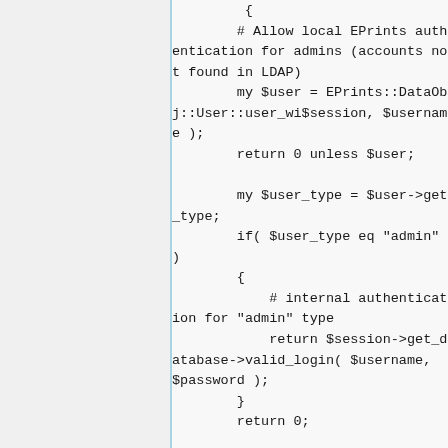[Figure (screenshot): Code snippet showing Perl authentication logic for EPrints: allows local EPrints authentication for admins not found in LDAP, retrieves user object, returns 0 unless user exists, checks user type, if admin type performs internal authentication via get_database->valid_login, returns 0.]